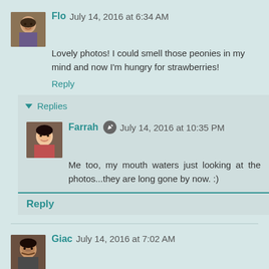[Figure (photo): Avatar of user Flo - small child photo]
Flo July 14, 2016 at 6:34 AM
Lovely photos! I could smell those peonies in my mind and now I'm hungry for strawberries!
Reply
▼ Replies
[Figure (photo): Avatar of user Farrah - doll/barbie photo]
Farrah [edit icon] July 14, 2016 at 10:35 PM
Me too, my mouth waters just looking at the photos...they are long gone by now. :)
Reply
[Figure (photo): Avatar of user Giac - man photo]
Giac July 14, 2016 at 7:02 AM
Hello Farrah,
Happy belated birthday to the girls. They are adorable. I hope the rest of your summer will be even better then the beginning. enjoy those strawberries.
Big hug,